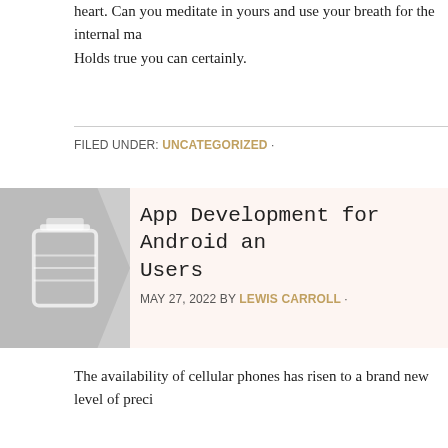heart. Can you meditate in yours and use your breath for the internal mas... Holds true you can certainly.
FILED UNDER: UNCATEGORIZED ·
App Development for Android and... Users
MAY 27, 2022 BY LEWIS CARROLL ·
The availability of cellular phones has risen to a brand new level of preci... finesse. These cutting-edge degrees of phone centers have added appr... change in the manner cell telephones have been used a decade ago. Th... like the Android telephones or the iPhone devices are unrestricted with a...
Common to all telephones with both android or iPhone technology there a... digicam, video recording, chat and internet surfing, video conferencing a... These are facilitated via Wi-Fi and 3g connectivity.
Android App
The software that consists of an running device, a middleware and key p... assets of Android Inc. There is a not unusual use of the running stru...